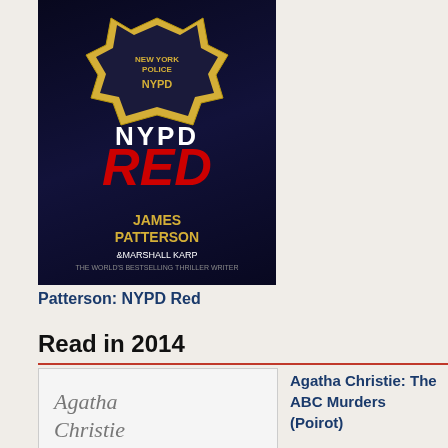[Figure (photo): Book cover: NYPD Red by James Patterson and Marshall Karp, dark blue background with gold badge]
Patterson: NYPD Red
Read in 2014
[Figure (photo): Book cover: Agatha Christie: The ABC Murders (Poirot), white background with large red A, yellow B, green C letters and red dots]
Agatha Christie: The ABC Murders (Poirot)
[Figure (photo): Book cover: David Suchet: Poirot, blue background with man in hat]
David Suchet: Poirot
stu in the Col Zon bac in Jul bec of tra div anc I wa fine for no pa of my Co cha